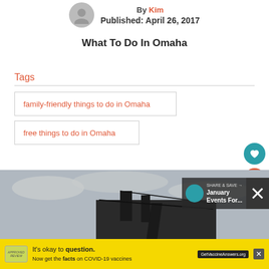By Kim
Published: April 26, 2017
What To Do In Omaha
Tags
family-friendly things to do in Omaha
free things to do in Omaha
[Figure (photo): Outdoor building/structure against cloudy sky]
January Events For...
It's okay to question. Now get the facts on COVID-19 vaccines GetVaccineAnswers.org